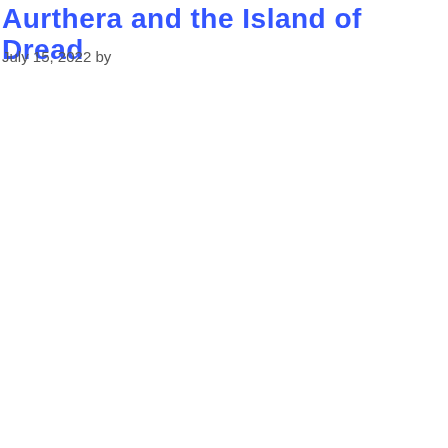Aurthera and the Island of Dread
July 15, 2022 by